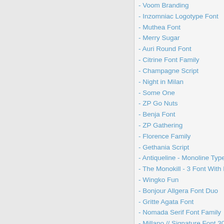- Voom Branding
- Inzomniac Logotype Font
- Muthea Font
- Merry Sugar
- Auri Round Font
- Citrine Font Family
- Champagne Script
- Night in Milan
- Some One
- ZP Go Nuts
- Benja Font
- ZP Gathering
- Florence Family
- Gethania Script
- Antiqueline - Monoline Typeface
- The Monokill - 3 Font With Extras
- Wingko Fun
- Bonjour Allgera Font Duo
- Gritte Agata Font
- Nomada Serif Font Family
- Millano // Signature Font 3042
- Orientation Font Family
- The Serenity - Lovely Script
- Croco - Luxury Sans Serif Font
- South Wind Font